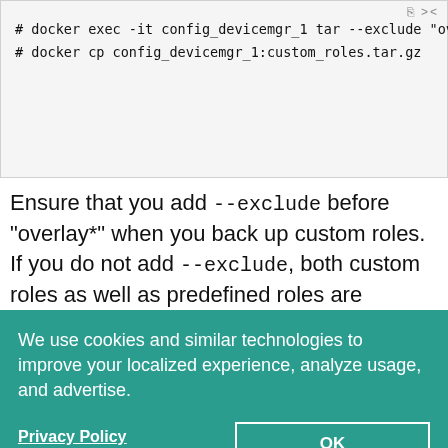[Figure (screenshot): Code block showing two docker commands: '# docker exec -it config_devicemgr_1 tar --exclude "overlay*"' and '# docker cp config_devicemgr_1:custom_roles.tar.gz']
Ensure that you add --exclude before "overlay*" when you back up custom roles. If you do not add --exclude, both custom roles as well as predefined roles are backed up. This might cause any predefined roles that had bug fixes for the next release to be overwritten.
We use cookies and similar technologies to improve your localized experience, analyze usage, and advertise.
Privacy Policy
OK
Cookie Settings